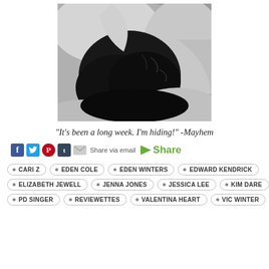[Figure (photo): Black and white close-up photo of a black cat hiding or nestled under white fabric/bedding, showing mostly dark fur against light cloth.]
"It's been a long week. I'm hiding!" -Mayhem
[Figure (infographic): Social share bar with Facebook, Twitter, Pinterest, Tumblr, email icons, 'Share via email' text, and a green Share button.]
CARI Z
EDEN COLE
EDEN WINTERS
EDWARD KENDRICK
ELIZABETH JEWELL
JENNA JONES
JESSICA LEE
KIM DARE
PD SINGER
REVIEWETTES
VALENTINA HEART
VIC WINTER